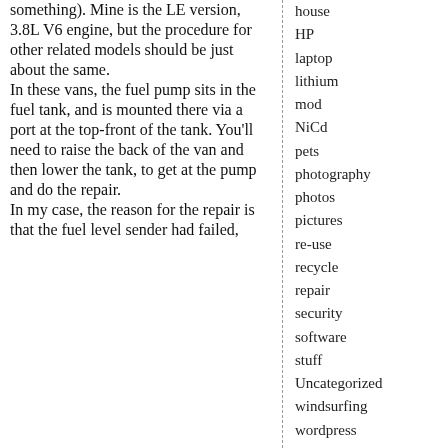something). Mine is the LE version, 3.8L V6 engine, but the procedure for other related models should be just about the same.
In these vans, the fuel pump sits in the fuel tank, and is mounted there via a port at the top-front of the tank. You'll need to raise the back of the van and then lower the tank, to get at the pump and do the repair.
In my case, the reason for the repair is that the fuel level sender had failed,
house
HP
laptop
lithium
mod
NiCd
pets
photography
photos
pictures
re-use
recycle
repair
security
software
stuff
Uncategorized
windsurfing
wordpress
Recent Comments
Christena on How to Replace the Serpentine Belt in a 1996 Dodge Caravan